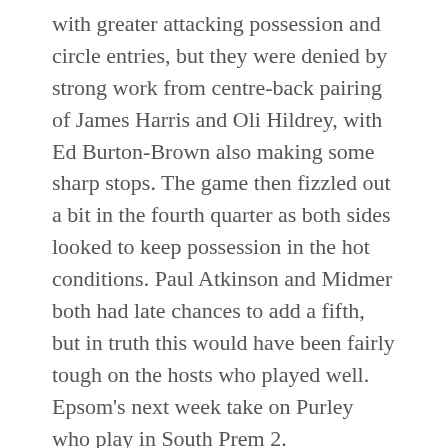with greater attacking possession and circle entries, but they were denied by strong work from centre-back pairing of James Harris and Oli Hildrey, with Ed Burton-Brown also making some sharp stops. The game then fizzled out a bit in the fourth quarter as both sides looked to keep possession in the hot conditions. Paul Atkinson and Midmer both had late chances to add a fifth, but in truth this would have been fairly tough on the hosts who played well. Epsom's next week take on Purley who play in South Prem 2.
ASSIGN A MENU